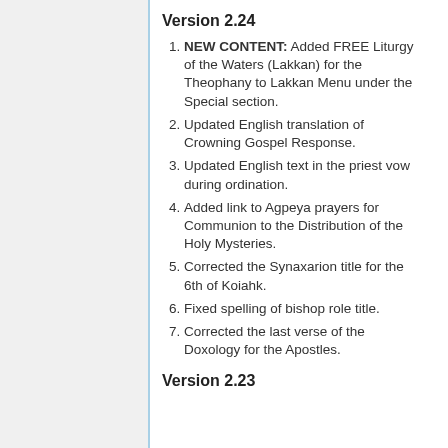Version 2.24
NEW CONTENT: Added FREE Liturgy of the Waters (Lakkan) for the Theophany to Lakkan Menu under the Special section.
Updated English translation of Crowning Gospel Response.
Updated English text in the priest vow during ordination.
Added link to Agpeya prayers for Communion to the Distribution of the Holy Mysteries.
Corrected the Synaxarion title for the 6th of Koiahk.
Fixed spelling of bishop role title.
Corrected the last verse of the Doxology for the Apostles.
Version 2.23